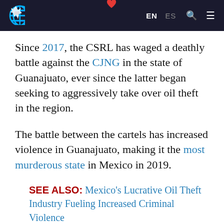EN ES [search] [menu]
Since 2017, the CSRL has waged a deathly battle against the CJNG in the state of Guanajuato, ever since the latter began seeking to aggressively take over oil theft in the region.
The battle between the cartels has increased violence in Guanajuato, making it the most murderous state in Mexico in 2019.
SEE ALSO: Mexico's Lucrative Oil Theft Industry Fueling Increased Criminal Violence
The local nature of the CSRL has allowed Yepez